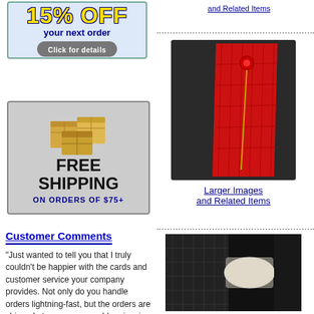[Figure (infographic): 15% OFF your next order - Click for details promotional banner with blue border on light blue background]
and Related Items
[Figure (infographic): FREE SHIPPING ON ORDERS OF $75+ banner with wooden boxes image on gray background]
Customer Comments
“Just wanted to tell you that I truly couldn't be happier with the cards and customer service your company provides. Not only do you handle orders lightning-fast, but the orders are shipped at a very reasonable price, in a sturdy, cardboard sleeve. But you already know all that. Jell
[Figure (photo): Dark leather journal/notebook with red crocodile-textured panel and decorative pin/bookmark]
Larger Images
and Related Items
[Figure (photo): Partially visible black and white product at bottom right]